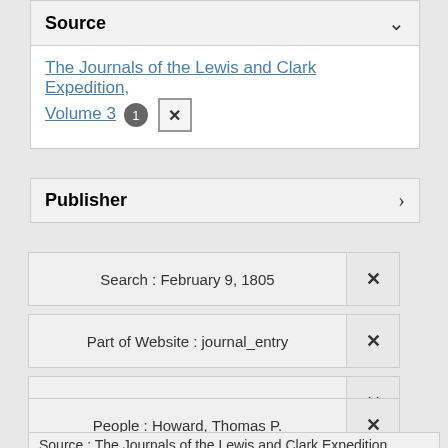Source
The Journals of the Lewis and Clark Expedition, Volume 3 [1] [x]
Publisher
Search : February 9, 1805 [x]
Part of Website : journal_entry [x]
Creator : Lewis, Meriwether [x]
People : Howard, Thomas P. [x]
Source : The Journals of the Lewis and Clark Expedition...